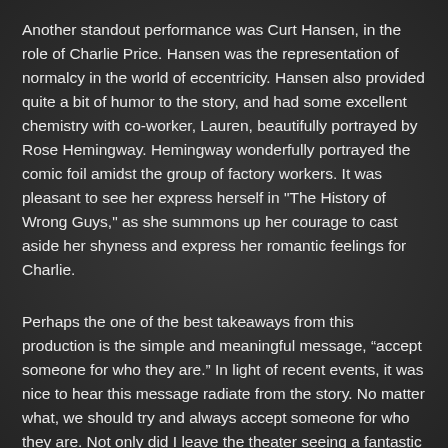Another standout performance was Curt Hansen, in the role of Charlie Price. Hansen was the representation of normalcy in the world of eccentricity. Hansen also provided quite a bit of humor to the story, and had some excellent chemistry with co-worker, Lauren, beautifully portrayed by Rose Hemingway. Hemingway wonderfully portrayed the comic foil amidst the group of factory workers. It was pleasant to see her express herself in "The History of Wrong Guys," as she summons up her courage to cast aside her shyness and express her romantic feelings for Charlie.
Perhaps the one of the best takeaways from this production is the simple and meaningful message, “accept someone for who they are.” In light of recent events, it was nice to hear this message radiate from the story. No matter what, we should try and always accept someone for who they are. Not only did I leave the theater seeing a fantastic production, but, I also left with an uplifted spirit, and some hope that everyone will be able to accept each other for who they are, not where they come from, what they look like, or any other designation that